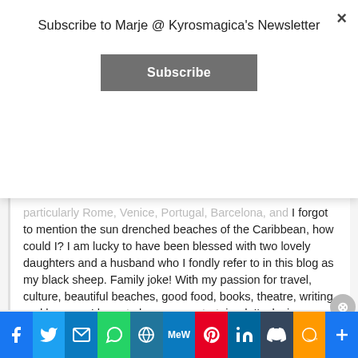Subscribe to Marje @ Kyrosmagica's Newsletter
Subscribe
particularly Rome, Venice, Portugal, Barcelona, and I forgot to mention the sun drenched beaches of the Caribbean, how could I? I am lucky to have been blessed with two lovely daughters and a husband who I fondly refer to in this blog as my black sheep. Family joke! With my passion for travel, culture, beautiful beaches, good food, books, theatre, writing, and humour, I hope to keep you entertained. I'm loving every minute of this creative journey, please join me.
Advertisements
[Figure (screenshot): DuckDuckGo advertisement banner: orange background with text 'Search, browse, and email with more privacy.' and 'All in One Free App', with a phone mockup and DuckDuckGo logo]
[Figure (infographic): Social sharing bar with icons: Facebook, Twitter, Email, WhatsApp, WordPress, MeWe, Pinterest, LinkedIn, Tumblr, Amazon, Share]